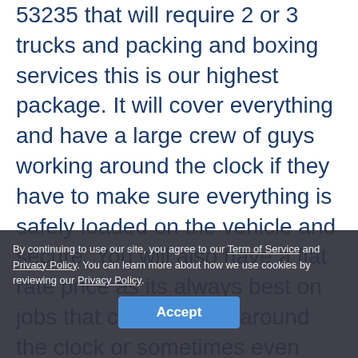53235 that will require 2 or 3 trucks and packing and boxing services this is our highest package. It will cover everything and have a large crew of guys working around the clock if they have to make sure everything is safely loaded on the vehicle and secure. You will also have a flat rate price as its always best on jobs that could stretch around the clock or sometimes even over a few days if they are that large.
Specialist move
We consider piano moving a specialist move because of the weight and size of the item and the care that is needed to transport and relocate pianos. All of our
By continuing to use our site, you agree to our Term of Service and Privacy Policy. You can learn more about how we use cookies by reviewing our Privacy Policy.